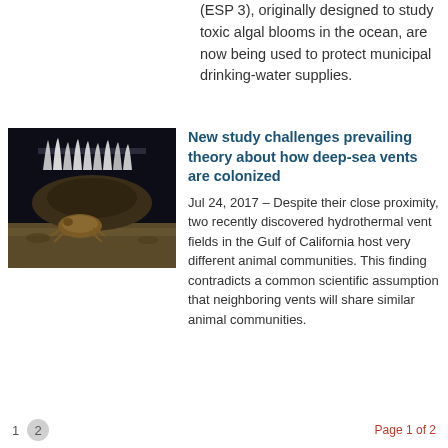(ESP 3), originally designed to study toxic algal blooms in the ocean, are now being used to protect municipal drinking-water supplies.
[Figure (photo): Dark underwater/nighttime photograph of a deep-sea hydrothermal vent with white tubeworms or chemosynthetic organisms visible along the top edge, and a brown/tan animal (possibly a crab or similar crustacean) visible in the foreground on the seafloor.]
New study challenges prevailing theory about how deep-sea vents are colonized
Jul 24, 2017 – Despite their close proximity, two recently discovered hydrothermal vent fields in the Gulf of California host very different animal communities. This finding contradicts a common scientific assumption that neighboring vents will share similar animal communities.
1  2  Page 1 of 2